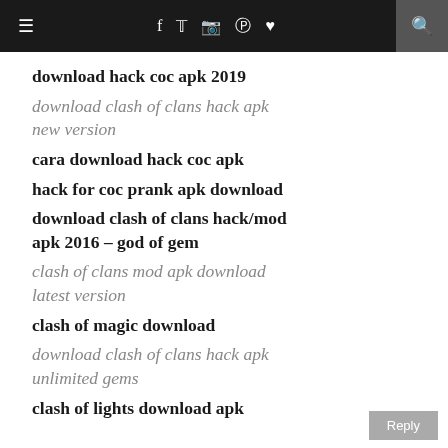≡  f  𝕥  📷   Pinterest  ♥  🔍
download hack coc apk 2019
download clash of clans hack apk new version
cara download hack coc apk
hack for coc prank apk download
download clash of clans hack/mod apk 2016 – god of gem
clash of clans mod apk download latest version
clash of magic download
download clash of clans hack apk unlimited gems
clash of lights download apk